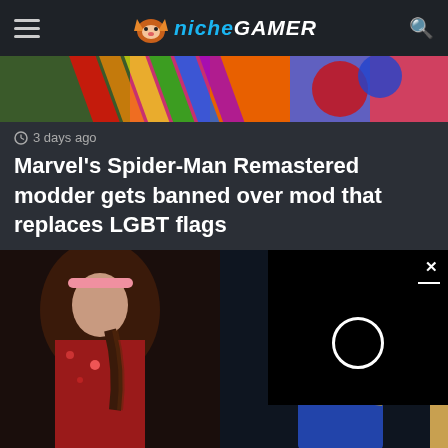Niche Gamer
[Figure (screenshot): Colorful comic/game artwork image cropped at top - Marvel Spider-Man related colorful graphic]
3 days ago
Marvel's Spider-Man Remastered modder gets banned over mod that replaces LGBT flags
[Figure (screenshot): Final Fantasy VII Remake screenshot showing two female characters cosplay/game renders, and a black video player overlay with close button and loading circle]
3 days ago
Final Fantasy VII Remake changed Honeybee Inn section from a "gender